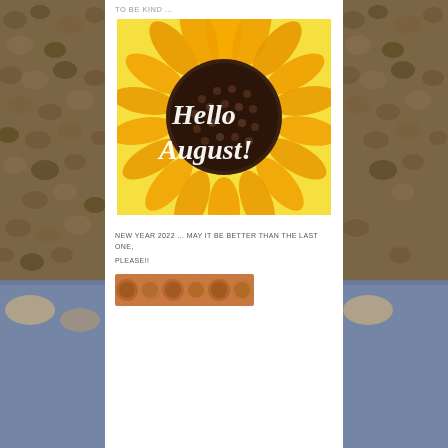TO BE KIND ...
[Figure (photo): Close-up photo of a sunflower with cursive white text overlay reading 'Hello August!']
NEW YEAR 2022 ... MAY IT BE BETTER THAN THE LAST ONE,
PLEASE!!
[Figure (photo): Partial view of a bottom image, appears to show circular objects in warm tones]